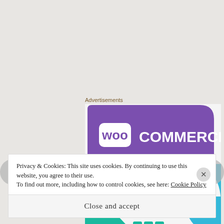Advertisements
[Figure (illustration): WooCommerce advertisement banner showing 'WOO COMMERCE' logo on a purple speech-bubble background with teal and blue geometric accent shapes, and text 'How to start selling' with a partial teal icon at the bottom.]
Privacy & Cookies: This site uses cookies. By continuing to use this website, you agree to their use.
To find out more, including how to control cookies, see here: Cookie Policy
Close and accept